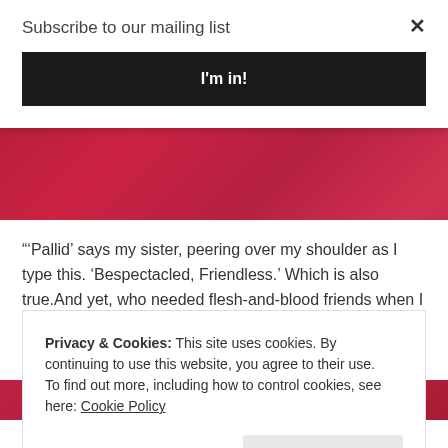Subscribe to our mailing list
I'm in!
“‘Pallid’ says my sister, peering over my shoulder as I type this. ‘Bespectacled, Friendless.’ Which is also true.And yet, who needed flesh-and-blood friends when I had Jo March, Charlotte, Wilbur and everyone at Malory Towers at my beck and call?”
Privacy & Cookies: This site uses cookies. By continuing to use this website, you agree to their use.
To find out more, including how to control cookies, see here: Cookie Policy
Close and accept